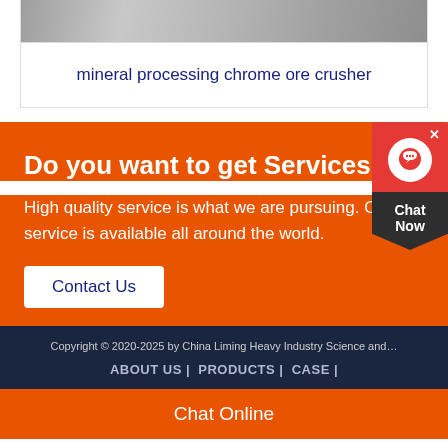[Figure (photo): Stone or rock texture image at top of product card]
mineral processing chrome ore crusher
Do you want to get Services?
High quality service is what we are pursuing. Our service is available all around the world.
Contact Us
Copyright © 2020-2025 by China Liming Heavy Industry Science and…
ABOUT US |  PRODUCTS |  CASE |
Chat Online